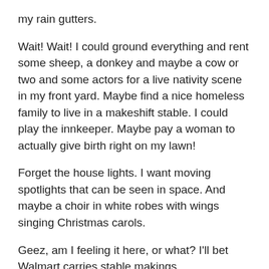my rain gutters.
Wait! Wait! I could ground everything and rent some sheep, a donkey and maybe a cow or two and some actors for a live nativity scene in my front yard. Maybe find a nice homeless family to live in a makeshift stable. I could play the innkeeper. Maybe pay a woman to actually give birth right on my lawn!
Forget the house lights. I want moving spotlights that can be seen in space. And maybe a choir in white robes with wings singing Christmas carols.
Geez, am I feeling it here, or what? I'll bet Walmart carries stable makings.
On second thought, maybe I'm getting carried away.